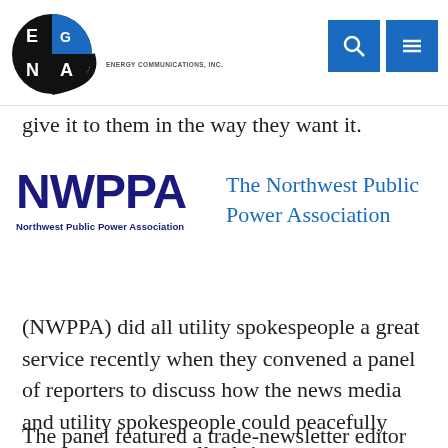[Figure (logo): Egan Energy Communications Inc. logo — black circular design with letters E, G, A, N and a blue quarter-circle segment, with company name below]
[Figure (other): Blue search icon button and blue hamburger menu icon button in header navigation]
give it to them in the way they want it.
[Figure (logo): NWPPA logo — large bold navy letters NWPPA above text Northwest Public Power Association]
The Northwest Public Power Association
(NWPPA) did all utility spokespeople a great service recently when they convened a panel of reporters to discuss how the news media and utility spokespeople could peacefully coexist, even mutually thrive.
The panel featured a trade-newsletter editor (Ben